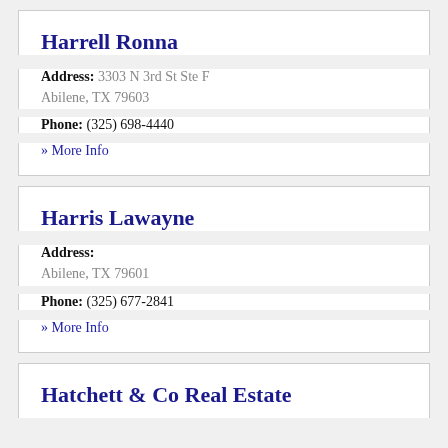Harrell Ronna
Address: 3303 N 3rd St Ste F
Abilene, TX 79603
Phone: (325) 698-4440
» More Info
Harris Lawayne
Address:
Abilene, TX 79601
Phone: (325) 677-2841
» More Info
Hatchett & Co Real Estate